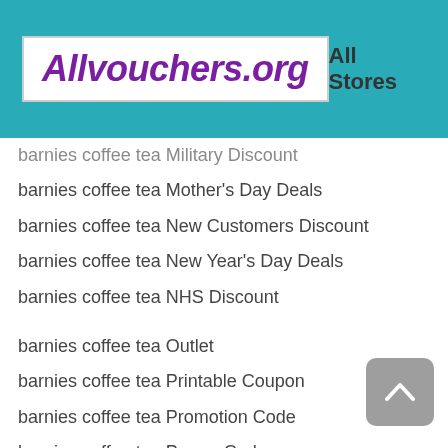Allvouchers.org   All Stores
barnies coffee tea Military Discount
barnies coffee tea Mother's Day Deals
barnies coffee tea New Customers Discount
barnies coffee tea New Year's Day Deals
barnies coffee tea NHS Discount
barnies coffee tea Outlet
barnies coffee tea Printable Coupon
barnies coffee tea Promotion Code
barnies coffee tea Promo Code
barnies coffee tea Referral Discount
barnies coffee tea Reward Points
barnies coffee tea Senior Discount
barnies coffee tea Spring Sales